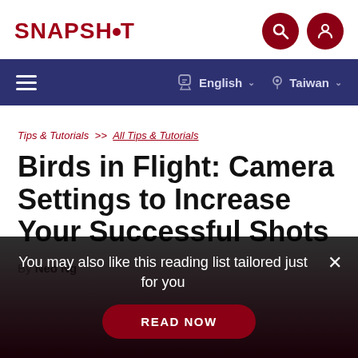SNAPSHOT
≡   English ∨   Taiwan ∨
Tips & Tutorials >> All Tips & Tutorials
Birds in Flight: Camera Settings to Increase Your Successful Shots
By Neo Ng
You may also like this reading list tailored just for you
READ NOW